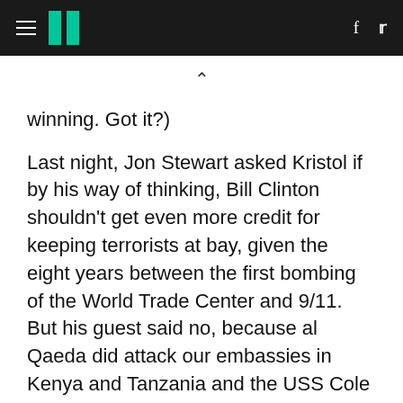HuffPost navigation header with hamburger menu, logo, Facebook and Twitter icons
winning. Got it?)
Last night, Jon Stewart asked Kristol if by his way of thinking, Bill Clinton shouldn't get even more credit for keeping terrorists at bay, given the eight years between the first bombing of the World Trade Center and 9/11. But his guest said no, because al Qaeda did attack our embassies in Kenya and Tanzania and the USS Cole during that time. Just like they've hit our allies in London and Madrid since 9/11? Oh, well.